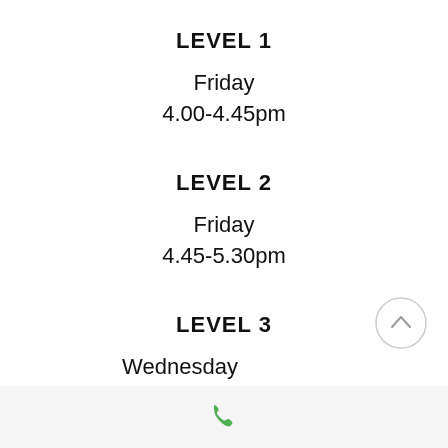LEVEL 1
Friday
4.00-4.45pm
LEVEL 2
Friday
4.45-5.30pm
LEVEL 3
Wednesday
5.15-6.00pm
[Figure (other): Scroll-up circular button with upward chevron arrow]
[Figure (other): Phone icon in green at bottom footer bar]